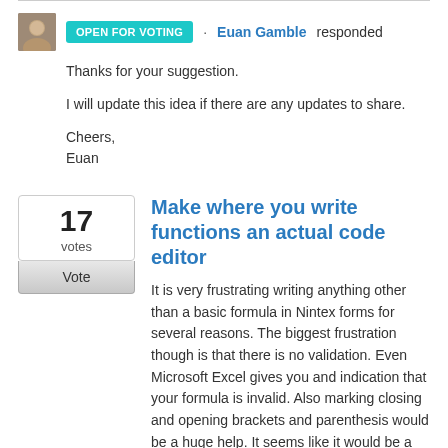[Figure (photo): Avatar photo of Euan Gamble, a person with a teal OPEN FOR VOTING badge]
OPEN FOR VOTING · Euan Gamble responded
Thanks for your suggestion.

I will update this idea if there are any updates to share.

Cheers,
Euan
17 votes
Vote
Make where you write functions an actual code editor
It is very frustrating writing anything other than a basic formula in Nintex forms for several reasons. The biggest frustration though is that there is no validation. Even Microsoft Excel gives you and indication that your formula is invalid. Also marking closing and opening brackets and parenthesis would be a huge help. It seems like it would be a simple task to implement this and a huge win for users.